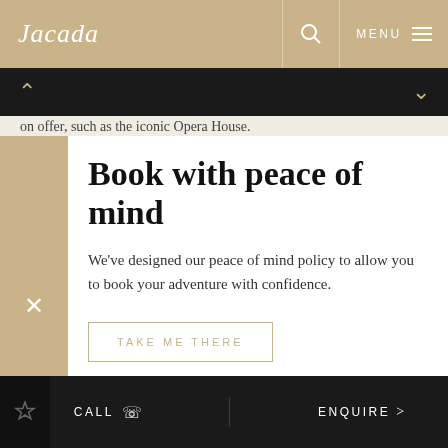Jacada
on offer, such as the iconic Opera House.
Book with peace of mind
We've designed our peace of mind policy to allow you to book your adventure with confidence.
TAKE ME THERE
Next you'll get your adrenaline pumping by taking to the skies over Milford Sound and Mount Tutoko before being brought
CALL   ENQUIRE >